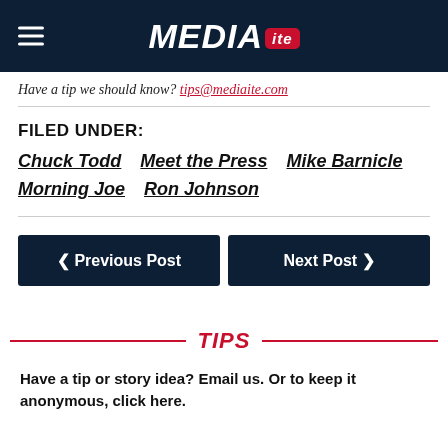MEDIAITE
Have a tip we should know? tips@mediaite.com
FILED UNDER:
Chuck Todd   Meet the Press   Mike Barnicle   Morning Joe   Ron Johnson
◀ Previous Post    Next Post ▶
TIPS
Have a tip or story idea? Email us. Or to keep it anonymous, click here.